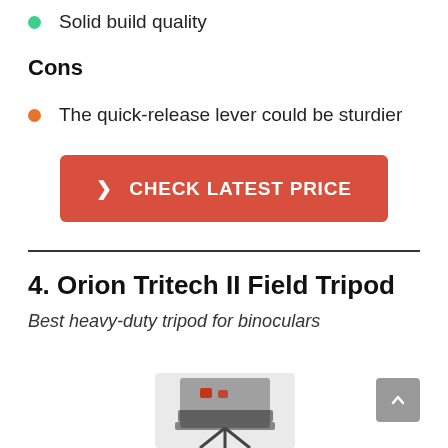Solid build quality
Cons
The quick-release lever could be sturdier
[Figure (other): Red button/CTA: CHECK LATEST PRICE with arrow]
4. Orion Tritech II Field Tripod
Best heavy-duty tripod for binoculars
[Figure (photo): Partial photo of tripod head, bottom of page]